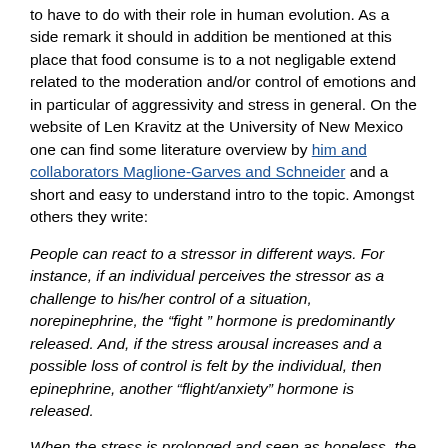to have to do with their role in human evolution. As a side remark it should in addition be mentioned at this place that food consume is to a not negligable extend related to the moderation and/or control of emotions and in particular of aggressivity and stress in general. On the website of Len Kravitz at the University of New Mexico one can find some literature overview by him and collaborators Maglione-Garves and Schneider and a short and easy to understand intro to the topic. Amongst others they write:
People can react to a stressor in different ways. For instance, if an individual perceives the stressor as a challenge to his/her control of a situation, norepinephrine, the “fight” hormone is predominantly released. And, if the stress arousal increases and a possible loss of control is felt by the individual, then epinephrine, another “flight/anxiety” hormone is released.
When the stress is prolonged and seen as hopeless, the individual becomes more distressed and feels defeated. This activates the hypothalamus in the brain. What follows is a cascade of hormonal pathways resulting in the final